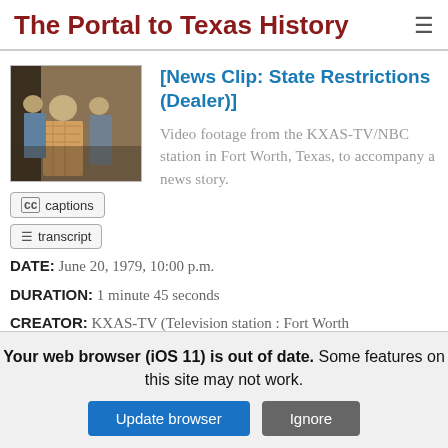The Portal to Texas History
[Figure (photo): Thumbnail photo of men walking in a hallway, appears to be a news clip still frame]
[News Clip: State Restrictions (Dealer)]
Video footage from the KXAS-TV/NBC station in Fort Worth, Texas, to accompany a news story.
DATE: June 20, 1979, 10:00 p.m.
DURATION: 1 minute 45 seconds
CREATOR: KXAS-TV (Television station : Fort Worth, Tex.)
Your web browser (iOS 11) is out of date. Some features on this site may not work.